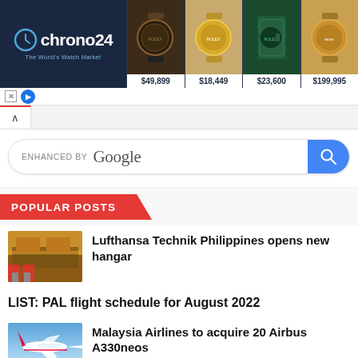[Figure (screenshot): Chrono24 advertisement banner showing luxury watches with prices: $49,899, $18,449, $23,600, $199,995]
[Figure (screenshot): Google enhanced search bar with blue search button]
POPULAR POSTS
[Figure (photo): Lufthansa Technik Philippines hangar exterior photo]
Lufthansa Technik Philippines opens new hangar
LIST: PAL flight schedule for August 2022
[Figure (photo): Malaysia Airlines plane in flight photo]
Malaysia Airlines to acquire 20 Airbus A330neos